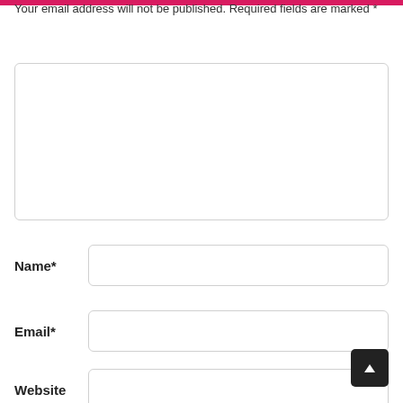Your email address will not be published. Required fields are marked *
[Figure (other): Large empty comment textarea input box with rounded border]
Name*
[Figure (other): Name text input field with rounded border]
Email*
[Figure (other): Email text input field with rounded border]
Website
[Figure (other): Website text input field with rounded border]
[Figure (other): Scroll-to-top button with upward arrow, dark background]